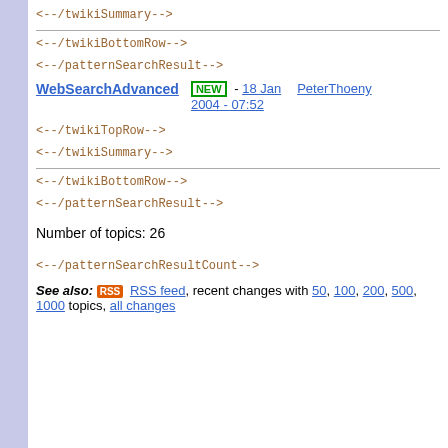<--/twikiSummary-->
<--/twikiBottomRow-->
<--/patternSearchResult-->
WebSearchAdvanced  NEW - 18 Jan 2004 - 07:52  PeterThoeny
<--/twikiTopRow-->
<--/twikiSummary-->
<--/twikiBottomRow-->
<--/patternSearchResult-->
Number of topics: 26
<--/patternSearchResultCount-->
See also: RSS feed, recent changes with 50, 100, 200, 500, 1000 topics, all changes